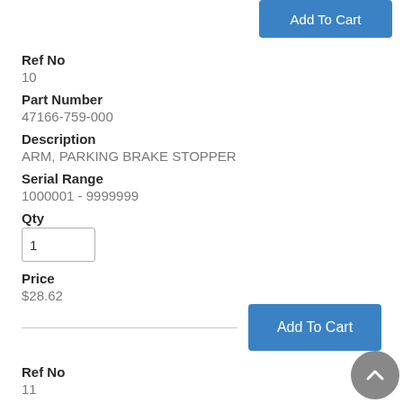Add To Cart
Ref No
10
Part Number
47166-759-000
Description
ARM, PARKING BRAKE STOPPER
Serial Range
1000001 - 9999999
Qty
1
Price
$28.62
Add To Cart
Ref No
11
Part Number
90001-PA9-000